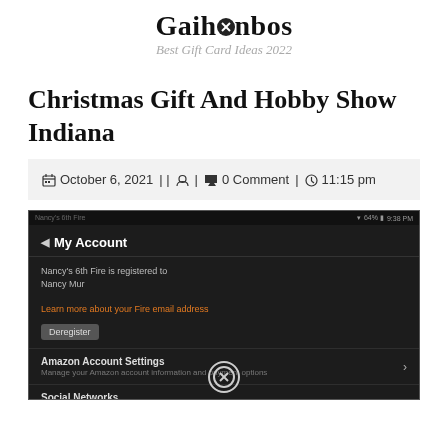Gaihanbos — Best Gift Card Ideas 2022
Christmas Gift And Hobby Show Indiana
October 6, 2021 || [user icon] | [comment icon] 0 Comment | [clock icon] 11:15 pm
[Figure (screenshot): Mobile app screenshot showing 'My Account' screen on a dark-themed Kindle/Amazon app. Shows device registration info for 'Nancy's 6th Fire is registered to Nancy Mur', an orange 'Learn more about your Fire email address' link, a 'Deregister' button, 'Amazon Account Settings' menu row with chevron, 'Social Networks' menu row with chevron, and a circled X icon at the bottom.]